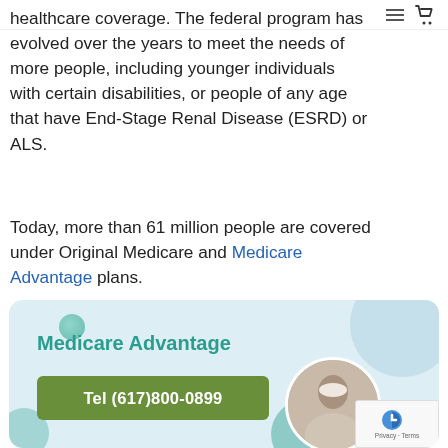hamburger menu icon and cart icon
healthcare coverage. The federal program has evolved over the years to meet the needs of more people, including younger individuals with certain disabilities, or people of any age that have End-Stage Renal Disease (ESRD) or ALS.
Today, more than 61 million people are covered under Original Medicare and Medicare Advantage plans.
[Figure (infographic): Promotional card with light blue background and teal/green bubbles. Title reads 'Medicare Advantage' in teal bold text. Green button with text 'Tel (617)800-0899'. Circular photo of elderly woman on the right side.]